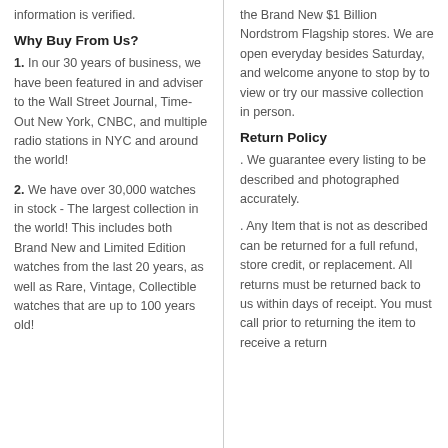information is verified.
Why Buy From Us?
1. In our 30 years of business, we have been featured in and adviser to the Wall Street Journal, Time-Out New York, CNBC, and multiple radio stations in NYC and around the world!
2. We have over 30,000 watches in stock - The largest collection in the world! This includes both Brand New and Limited Edition watches from the last 20 years, as well as Rare, Vintage, Collectible watches that are up to 100 years old!
the Brand New $1 Billion Nordstrom Flagship stores. We are open everyday besides Saturday, and welcome anyone to stop by to view or try our massive collection in person.
Return Policy
. We guarantee every listing to be described and photographed accurately.
. Any Item that is not as described can be returned for a full refund, store credit, or replacement. All returns must be returned back to us within days of receipt. You must call prior to returning the item to receive a return